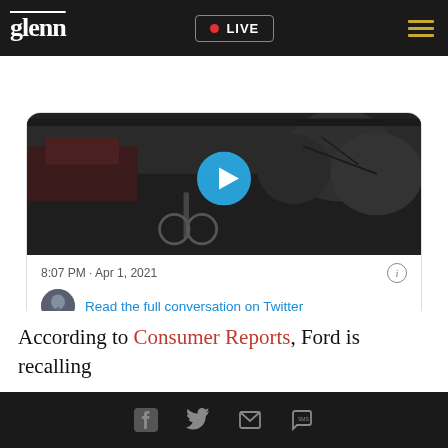glenn | LIVE
[Figure (screenshot): Tweet card showing a video thumbnail of a person with a bicycle, with a play button overlay. Shows timestamp 8:07 PM · Apr 1, 2021, a profile avatar, link 'Read the full conversation on Twitter', like count 23.3K, Reply, Copy link actions, and 'Read 1.4K replies' button.]
According to Consumer Reports, Ford is recalling
Social share icons: Facebook, Twitter, Email, SMS